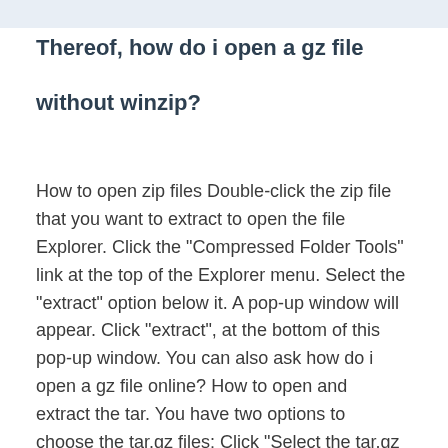Thereof, how do i open a gz file without winzip?
How to open zip files Double-click the zip file that you want to extract to open the file Explorer. Click the "Compressed Folder Tools" link at the top of the Explorer menu. Select the "extract" option below it. A pop-up window will appear. Click "extract", at the bottom of this pop-up window. You can also ask how do i open a gz file online? How to open and extract the tar. You have two options to choose the tar.gz files: Click "Select the tar.gz File to Open" to open the file selector. To save the files to your local drive, click the green "Save" button. OPTIONAL: To open the browser directly, click the blue "Preview" button